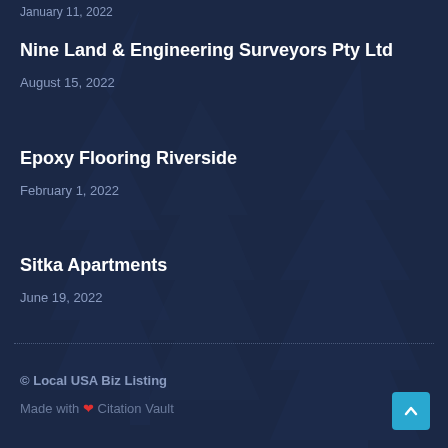January 11, 2022
Nine Land & Engineering Surveyors Pty Ltd
August 15, 2022
Epoxy Flooring Riverside
February 1, 2022
Sitka Apartments
June 19, 2022
© Local USA Biz Listing
Made with ❤ Citation Vault